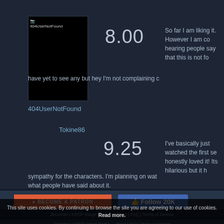[Figure (photo): Black square user avatar image with broken image indicator labeled 404UserNotFound]
404UserNotFound
8.00
So far I am liking it. However I am co hearing people say that this is not fo have yet to see any but hey I'm not complaining c
Tokine86
9.25
I've basically just watched the first se honestly loved it! Its hilarious but it h sympathy for the characters. I'm planning on wat what people have said about it.
[Figure (other): Patreon button - red background with text BECOME A PATRON]
[Figure (other): Facebook Follow button with 20K followers count]
This site uses cookies. By continuing to browse the site you are agreeing to our use of cookies. Read more.
Zerochan | KPOP Image Board - About | FAQ | Terms of Service